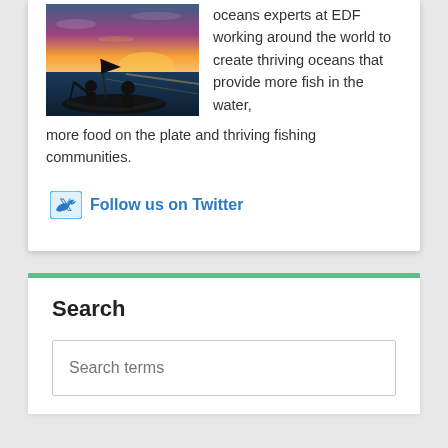[Figure (photo): Silhouette of fishermen in a boat at sunset/dusk with colorful sky]
oceans experts at EDF working around the world to create thriving oceans that provide more fish in the water, more food on the plate and thriving fishing communities.
Follow us on Twitter
Search
Search terms